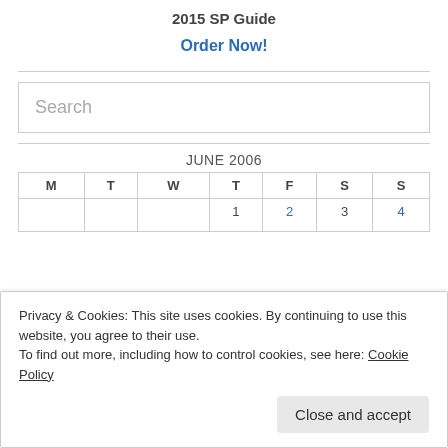2015 SP Guide
Order Now!
[Figure (other): Search input box with placeholder text 'Search']
JUNE 2006
| M | T | W | T | F | S | S |
| --- | --- | --- | --- | --- | --- | --- |
|  |  |  | 1 | 2 | 3 | 4 |
Privacy & Cookies: This site uses cookies. By continuing to use this website, you agree to their use.
To find out more, including how to control cookies, see here: Cookie Policy